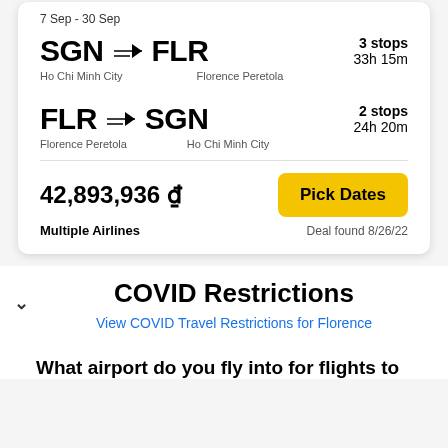7 Sep - 30 Sep
SGN → FLR | Ho Chi Minh City → Florence Peretola | 3 stops | 33h 15m
FLR → SGN | Florence Peretola → Ho Chi Minh City | 2 stops | 24h 20m
42,893,936 ₫
Multiple Airlines
Pick Dates
Deal found 8/26/22
COVID Restrictions
View COVID Travel Restrictions for Florence
What airport do you fly into for flights to